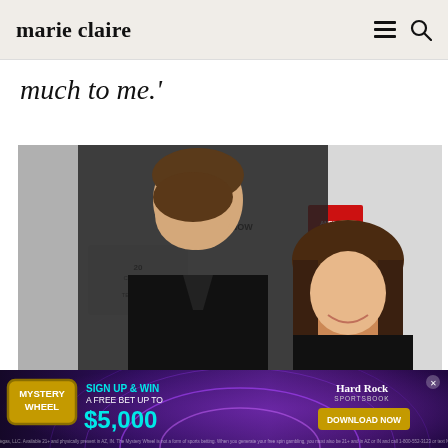marie claire
much to me.'
[Figure (photo): A man in a black suit and a woman with long brown hair smiling at each other at a red carpet event. Background shows 20th Century Fox and American Horror Story DVD banners.]
[Figure (screenshot): Hard Rock Sportsbook advertisement banner — Mystery Wheel: Sign Up & Win a Free Bet up to $5,000. Download Now button.]